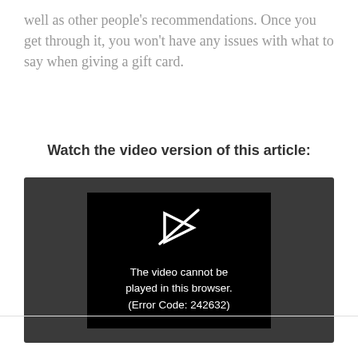well as other people's recommendations. Once you get through it, you won't have any issues with what to say when giving a gift card.
Watch the video version of this article:
[Figure (screenshot): Embedded video player showing an error message: 'The video cannot be played in this browser. (Error Code: 242632)']